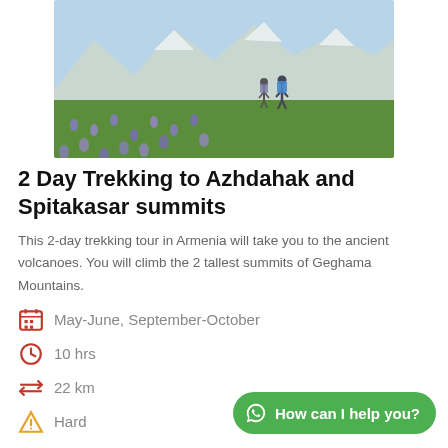[Figure (photo): Two hikers walking through a lush valley filled with purple wildflowers, with snow-capped mountains in the background, in Geghama Mountains, Armenia.]
2 Day Trekking to Azhdahak and Spitakasar summits
This 2-day trekking tour in Armenia will take you to the ancient volcanoes. You will climb the 2 tallest summits of Geghama Mountains.
May-June, September-October
10 hrs
22 km
Hard